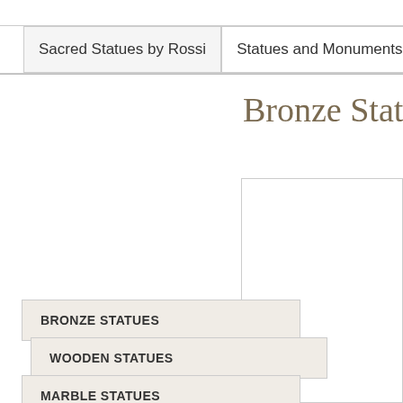Sacred Statues by Rossi | Statues and Monuments | Marble
Bronze Statue of P
[Figure (photo): Image box area for bronze statue photo, partially visible on right side of page]
BRONZE STATUES
WOODEN STATUES
MARBLE STATUES
FIBREGLASS STATUES
STATUE OF KAROL WOJTYLA